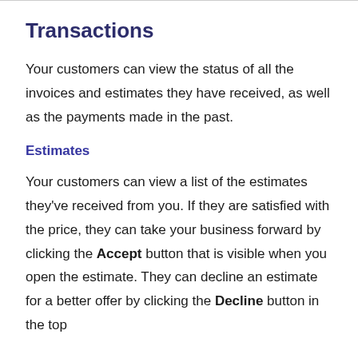Transactions
Your customers can view the status of all the invoices and estimates they have received, as well as the payments made in the past.
Estimates
Your customers can view a list of the estimates they've received from you. If they are satisfied with the price, they can take your business forward by clicking the Accept button that is visible when you open the estimate. They can decline an estimate for a better offer by clicking the Decline button in the top